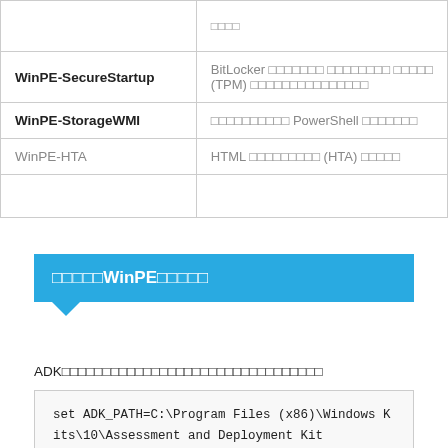|  |  |
| --- | --- |
|  | □□□□ |
| WinPE-SecureStartup | BitLocker □□□□□□□ □□□□□□□□ □□□□□ (TPM) □□□□□□□□□□□□□□□ |
| WinPE-StorageWMI | □□□□□□□□□□ PowerShell □□□□□□□ |
| WinPE-HTA | HTML □□□□□□□□□ (HTA) □□□□□ |
|  |  |
□□□□□WinPE□□□□□
ADK□□□□□□□□□□□□□□□□□□□□□□□□□□□□□□□□
set ADK_PATH=C:\Program Files (x86)\Windows Kits\10\Assessment and Deployment Kit
set ADK_PACK=%ADK_PATH%\Windows Preinstallation Environment\amd64\WinPE_OCs